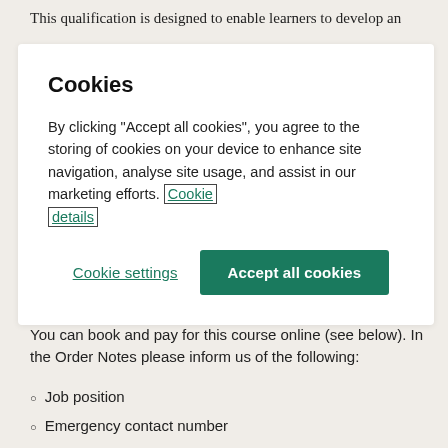This qualification is designed to enable learners to develop an
[Figure (screenshot): Cookie consent modal dialog with title 'Cookies', body text about storing cookies, a 'Cookie details' link, and two buttons: 'Cookie settings' and 'Accept all cookies']
You can book and pay for this course online (see below). In the Order Notes please inform us of the following:
Job position
Emergency contact number
Any medical or dietary requirements